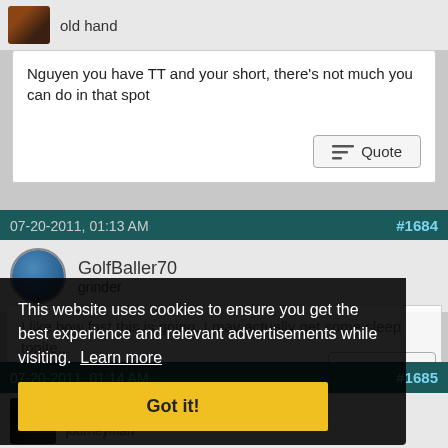old hand
Nguyen you have TT and your short, there's not much you can do in that spot
07-20-2011, 01:13 AM
#1684
GolfBaller70
grinder
I like how fast this is going. I may actually get some sleep tonite...
This website uses cookies to ensure you get the best experience and relevant advertisements while visiting. Learn more
Got it!
07-20-2011, 01:14 AM
#1685
Magicmanjack
journeyman